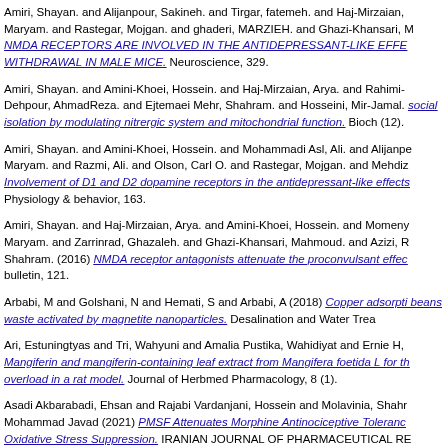Amiri, Shayan. and Alijanpour, Sakineh. and Tirgar, fatemeh. and Haj-Mirzaian, Maryam. and Rastegar, Mojgan. and ghaderi, MARZIEH. and Ghazi-Khansari, M. NMDA RECEPTORS ARE INVOLVED IN THE ANTIDEPRESSANT-LIKE EFFE WITHDRAWAL IN MALE MICE. Neuroscience, 329.
Amiri, Shayan. and Amini-Khoei, Hossein. and Haj-Mirzaian, Arya. and Rahimi-B Dehpour, AhmadReza. and Ejtemaei Mehr, Shahram. and Hosseini, Mir-Jamal. social isolation by modulating nitrergic system and mitochondrial function. Bioch (12).
Amiri, Shayan. and Amini-Khoei, Hossein. and Mohammadi Asl, Ali. and Alijanpe Maryam. and Razmi, Ali. and Olson, Carl O. and Rastegar, Mojgan. and Mehdiz Involvement of D1 and D2 dopamine receptors in the antidepressant-like effects Physiology & behavior, 163.
Amiri, Shayan. and Haj-Mirzaian, Arya. and Amini-Khoei, Hossein. and Momeny Maryam. and Zarrinrad, Ghazaleh. and Ghazi-Khansari, Mahmoud. and Azizi, R Shahram. (2016) NMDA receptor antagonists attenuate the proconvulsant effec bulletin, 121.
Arbabi, M and Golshani, N and Hemati, S and Arbabi, A (2018) Copper adsorpti beans waste activated by magnetite nanoparticles. Desalination and Water Trea
Ari, Estuningtyas and Tri, Wahyuni and Amalia Pustika, Wahidiyat and Ernie H, Mangiferin and mangiferin-containing leaf extract from Mangifera foetida L for th overload in a rat model. Journal of Herbmed Pharmacology, 8 (1).
Asadi Akbarabadi, Ehsan and Rajabi Vardanjani, Hossein and Molavinia, Shahr Mohammad Javad (2021) PMSF Attenuates Morphine Antinociceptive Toleranc Oxidative Stress Suppression. IRANIAN JOURNAL OF PHARMACEUTICAL RE